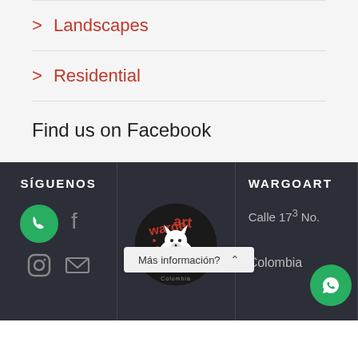> Landscapes
> Residential
Find us on Facebook
SÍGUENOS | WARGOART | Calle 173 No. ... Colombia
[Figure (logo): Wargoart logo - circular emblem with wolf/dog illustration and text 'wargo art arte para ...']
Más información?